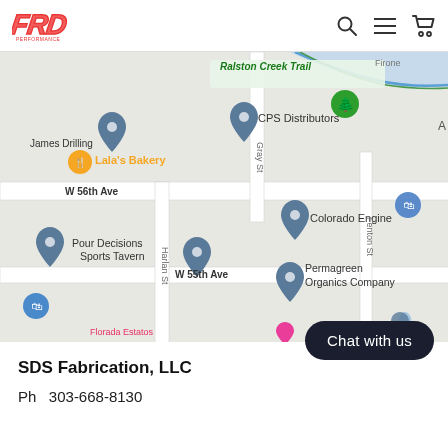[Figure (logo): FRP logo in red/pink stylized text]
[Figure (map): Google Maps screenshot showing area with Ralston Creek Trail, James Drilling, Lala's Bakery, CPS Distributors, Colorado Engine, Pour Decisions Sports Tavern, Permagreen Organics Company, W 56th Ave, W 55th Ave, Harlan St, Gray St, Fenton St]
Chat with us
SDS Fabrication, LLC
Ph   303-668-8130